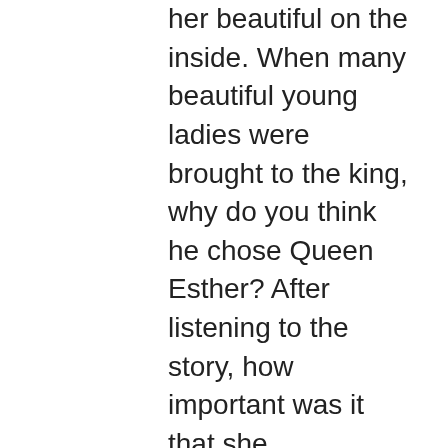her beautiful on the inside. When many beautiful young ladies were brought to the king, why do you think he chose Queen Esther? After listening to the story, how important was it that she demonstrated patience and waited for God's timing? What are some examples of how Queen Esther demonstrated patience? How did that help her and all of the Jewish nation? What can we learn from this? Pray together and ask God to help you to listen and patiently obey your parents and others who want to help prepare you as you grow up.